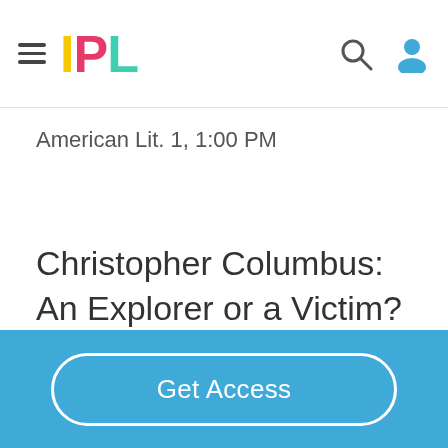IPL
American Lit. 1, 1:00 PM
Christopher Columbus: An Explorer or a Victim?
We all have plans and dreams for our futures
Get Access